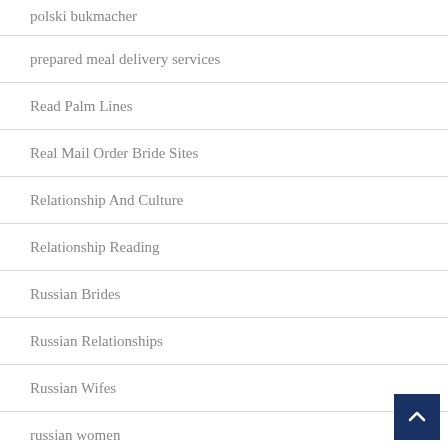polski bukmacher
prepared meal delivery services
Read Palm Lines
Real Mail Order Bride Sites
Relationship And Culture
Relationship Reading
Russian Brides
Russian Relationships
Russian Wifes
russian women
Russian Women Dating Sites